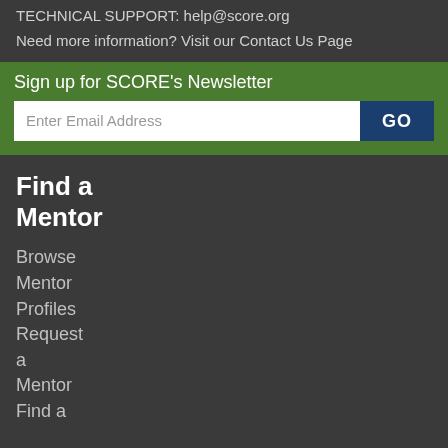TECHNICAL SUPPORT: help@score.org
Need more information? Visit our Contact Us Page
Sign up for SCORE's Newsletter
Enter Email Address  GO
Find a
Mentor
Browse
Mentor
Profiles
Request
a
Mentor
Find a